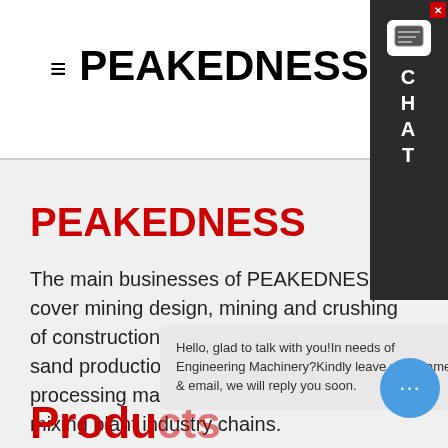PEAKEDNESS
PEAKEDNESS
The main businesses of PEAKEDNESS cover mining design, mining and crushing of construction materials, manufactured sand production lines, solid waster processing machinery and engineering mixing plant industry chains.
Products
[Figure (screenshot): Chat widget popup in bottom area with message: Hello, glad to talk with you! In needs of Engineering Machinery? Kindly leave your name & email, we will reply you soon.]
[Figure (screenshot): Dark sidebar chat widget on top-right corner with chat bubble icon and letters C H A T stacked vertically]